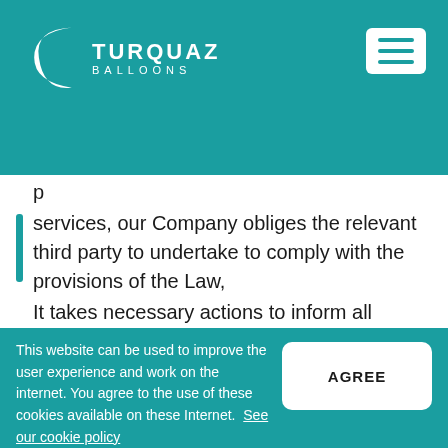TURQUAZ BALLOONS
services, our Company obliges the relevant third party to undertake to comply with the provisions of the Law,
It takes necessary actions to inform all employees, especially those who have
access to personal data, about their duties
This website can be used to improve the user experience and work on the internet. You agree to the use of these cookies available on these Internet.  See our cookie policy